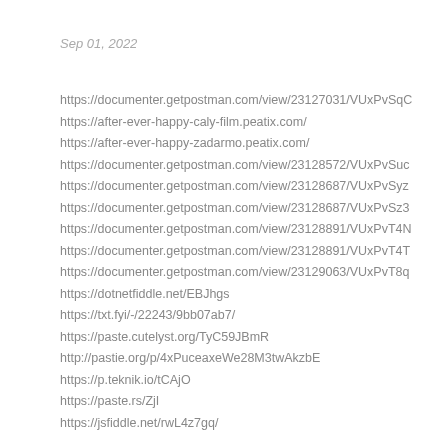Sep 01, 2022
https://documenter.getpostman.com/view/23127031/VUxPvSqC
https://after-ever-happy-caly-film.peatix.com/
https://after-ever-happy-zadarmo.peatix.com/
https://documenter.getpostman.com/view/23128572/VUxPvSuc
https://documenter.getpostman.com/view/23128687/VUxPvSyz
https://documenter.getpostman.com/view/23128687/VUxPvSz3
https://documenter.getpostman.com/view/23128891/VUxPvT4N
https://documenter.getpostman.com/view/23128891/VUxPvT4T
https://documenter.getpostman.com/view/23129063/VUxPvT8q
https://dotnetfiddle.net/EBJhgs
https://txt.fyi/-/22243/9bb07ab7/
https://paste.cutelyst.org/TyC59JBmR
http://pastie.org/p/4xPuceaxeWe28M3twAkzbE
https://p.teknik.io/tCAjO
https://paste.rs/ZjI
https://jsfiddle.net/rwL4z7gq/